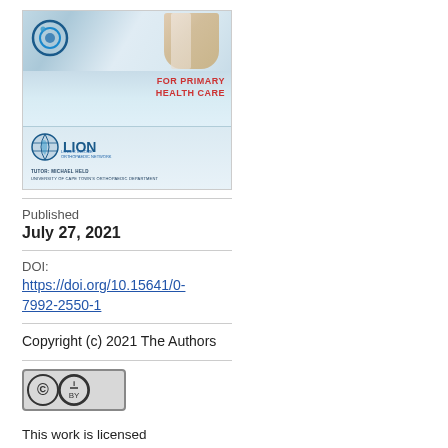[Figure (illustration): Book cover showing a medical professional image at top, 'FOR PRIMARY HEALTH CARE' text in red, LION logo with globe icon, author name and university/orthopaedic department text at bottom]
Published
July 27, 2021
DOI:
https://doi.org/10.15641/0-7992-2550-1
Copyright (c) 2021 The Authors
[Figure (logo): Creative Commons BY license badge]
This work is licensed under a Creative